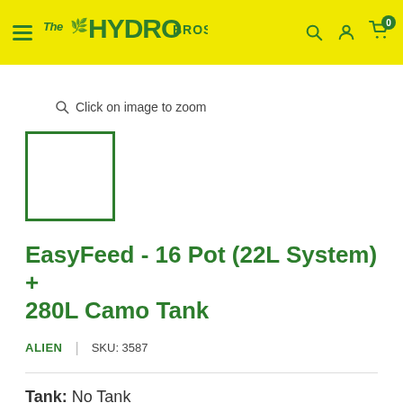The Hydro Bros
[Figure (screenshot): Zoom icon with text: Click on image to zoom]
[Figure (photo): Product thumbnail image placeholder with green border]
EasyFeed - 16 Pot (22L System) + 280L Camo Tank
ALIEN  |  SKU: 3587
Tank: No Tank